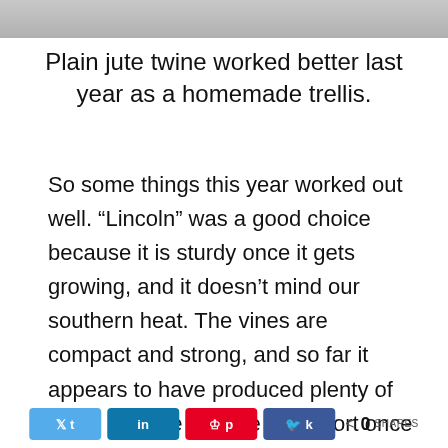[Figure (photo): Partial photo strip visible at top of page, showing outdoor/garden scene in grayscale]
Plain jute twine worked better last year as a homemade trellis.
So some things this year worked out well. “Lincoln” was a good choice because it is sturdy once it gets growing, and it doesn’t mind our southern heat. The vines are compact and strong, and so far it appears to have produced plenty of peas. (I’ll give you the full report once I harvest them.)